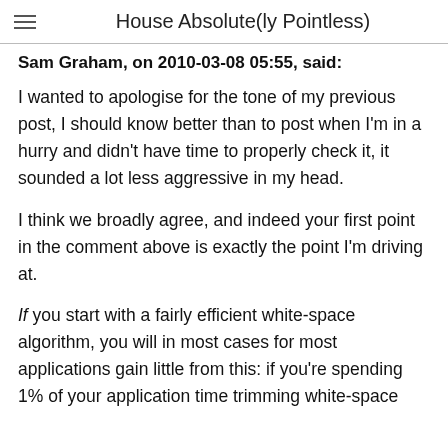House Absolute(ly Pointless)
Sam Graham, on 2010-03-08 05:55, said:
I wanted to apologise for the tone of my previous post, I should know better than to post when I'm in a hurry and didn't have time to properly check it, it sounded a lot less aggressive in my head.
I think we broadly agree, and indeed your first point in the comment above is exactly the point I'm driving at.
If you start with a fairly efficient white-space algorithm, you will in most cases for most applications gain little from this: if you're spending 1% of your application time trimming white-space